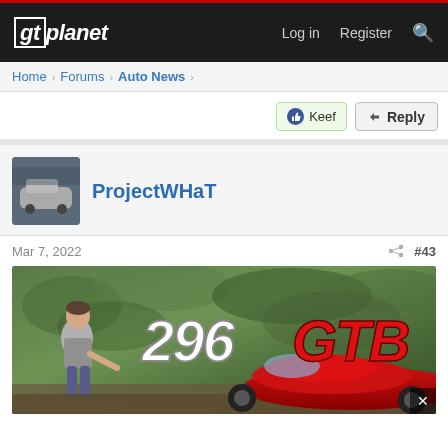gtplanet — Log in  Register
Home › Forums › Auto News ›
Keef
Reply
ProjectWHaT
Mar 7, 2022  #43
[Figure (photo): Ferrari 296 GTB banner image with a man standing beside a red Ferrari 296 GTB car, with the '296 GTB' logo overlaid in large stylized text. Outdoor setting with green foliage in background.]